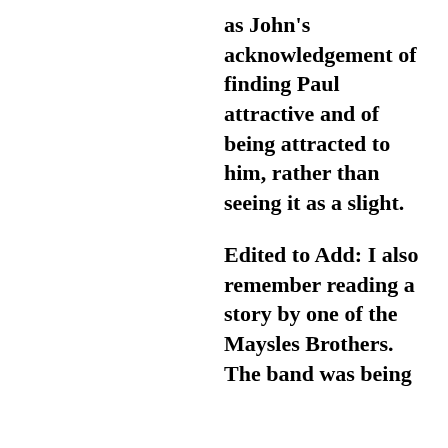as John's acknowledgement of finding Paul attractive and of being attracted to him, rather than seeing it as a slight.
Edited to Add: I also remember reading a story by one of the Maysles Brothers. The band was being